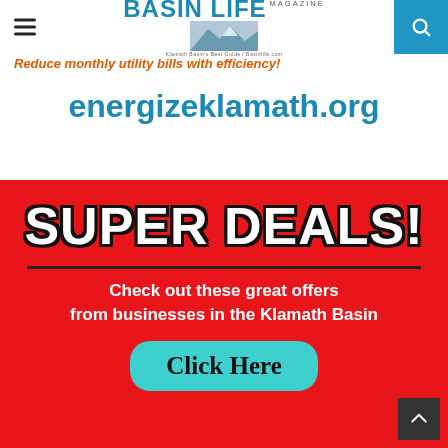BASIN LIFE MAGAZINE — Klamath Basin's Best Guide / Basinlife.com
Reduce monthly utility bills with efficiency!
energizeklamath.org
[Figure (infographic): Red banner advertisement reading SUPER DEALS! Check out these great offers from businesses in the Klamath Basin, with a teal Click Here button at the bottom.]